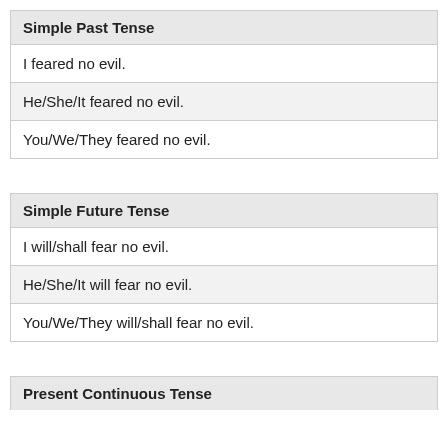Simple Past Tense
I feared no evil.
He/She/It feared no evil.
You/We/They feared no evil.
Simple Future Tense
I will/shall fear no evil.
He/She/It will fear no evil.
You/We/They will/shall fear no evil.
Present Continuous Tense